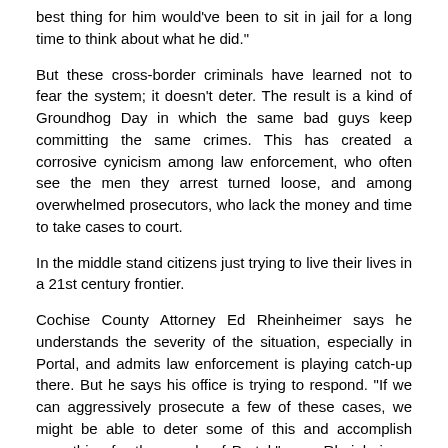best thing for him would've been to sit in jail for a long time to think about what he did."
But these cross-border criminals have learned not to fear the system; it doesn't deter. The result is a kind of Groundhog Day in which the same bad guys keep committing the same crimes. This has created a corrosive cynicism among law enforcement, who often see the men they arrest turned loose, and among overwhelmed prosecutors, who lack the money and time to take cases to court.
In the middle stand citizens just trying to live their lives in a 21st century frontier.
Cochise County Attorney Ed Rheinheimer says he understands the severity of the situation, especially in Portal, and admits law enforcement is playing catch-up there. But he says his office is trying to respond. "If we can aggressively prosecute a few of these cases, we might be able to deter some of this and accomplish something for the people of Portal," says Rheinheimer. "We know they've been suffering."
That response stems from work done by people like the Popes and others who don't wish to be named. They've met with Cochise County officials, the Border Patrol and the U.S. Attorneys Office to